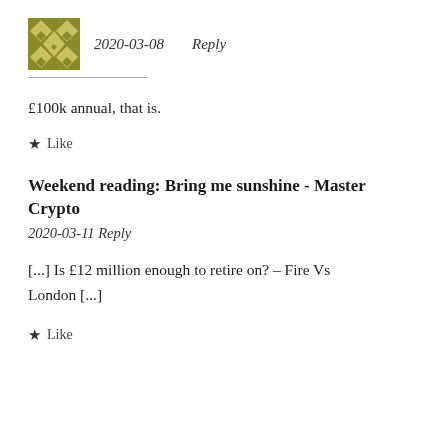2020-03-08   Reply
£100k annual, that is.
★ Like
Weekend reading: Bring me sunshine - Master Crypto
2020-03-11 Reply
[...] Is £12 million enough to retire on? – Fire Vs London [...]
★ Like